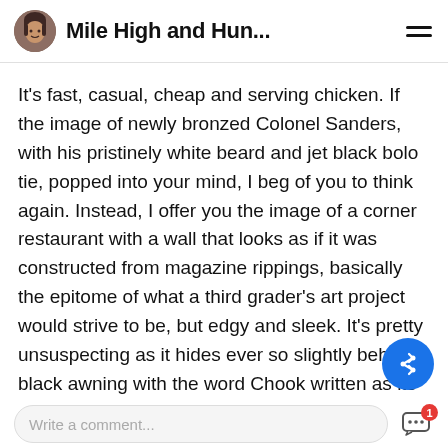Mile High and Hun...
It's fast, casual, cheap and serving chicken. If the image of newly bronzed Colonel Sanders, with his pristinely white beard and jet black bolo tie, popped into your mind, I beg of you to think again. Instead, I offer you the image of a corner restaurant with a wall that looks as if it was constructed from magazine rippings, basically the epitome of what a third grader's art project would strive to be, but edgy and sleek. It's pretty unsuspecting as it hides ever so slightly behind a black awning with the word Chook written as its title.
Read full story›